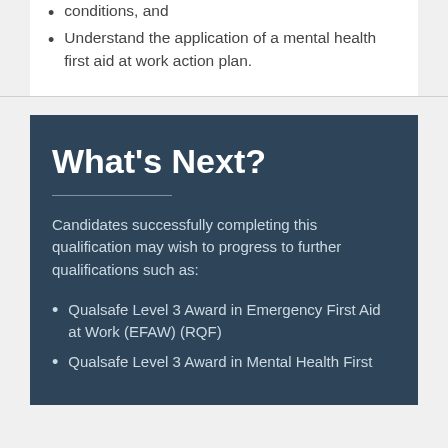conditions, and
Understand the application of a mental health first aid at work action plan.
What's Next?
Candidates successfully completing this qualification may wish to progress to further qualifications such as:
Qualsafe Level 3 Award in Emergency First Aid at Work (EFAW) (RQF)
Qualsafe Level 3 Award in Mental Health First